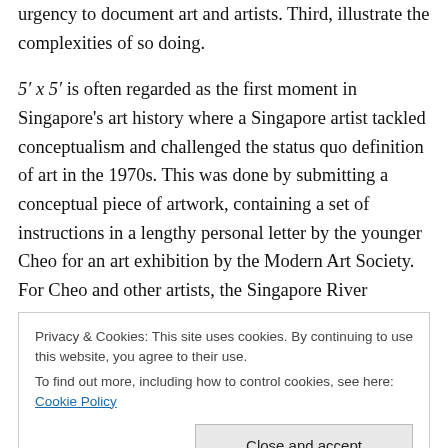urgency to document art and artists. Third, illustrate the complexities of so doing.
5′ x 5′ is often regarded as the first moment in Singapore's art history where a Singapore artist tackled conceptualism and challenged the status quo definition of art in the 1970s. This was done by submitting a conceptual piece of artwork, containing a set of instructions in a lengthy personal letter by the younger Cheo for an art exhibition by the Modern Art Society. For Cheo and other artists, the Singapore River represented the history, legend, and
Privacy & Cookies: This site uses cookies. By continuing to use this website, you agree to their use.
To find out more, including how to control cookies, see here: Cookie Policy
might sell it to locals and tourists. Cheo didn't want to paint